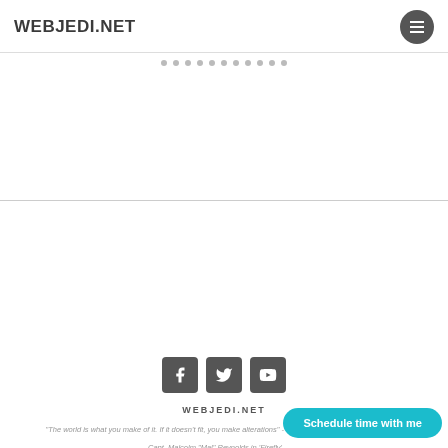WEBJEDI.NET
[Figure (screenshot): Slider dots navigation row with 11 small grey dots centered horizontally]
[Figure (screenshot): White blank slider/hero area]
[Figure (screenshot): Social media icons: Facebook, Twitter, YouTube — square rounded dark grey icons with white symbols]
WEBJEDI.NET
"The world is what you make of it. If it doesn't fit, you make alterations" - Stella, "Silverado" "I aim to misbehave" - Capt. Malcolm "Mal" Reynolds in 'Firefly'
[Figure (screenshot): Schedule time with me CTA button in teal/cyan color at bottom right]